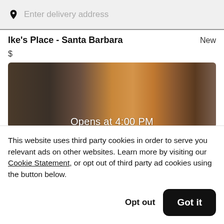Enter delivery address
Ike's Place - Santa Barbara
$
[Figure (photo): Food photo showing a sandwich/bread roll being held, with text 'Opens at 4:00 PM' overlaid]
This website uses third party cookies in order to serve you relevant ads on other websites. Learn more by visiting our Cookie Statement, or opt out of third party ad cookies using the button below.
Opt out
Got it